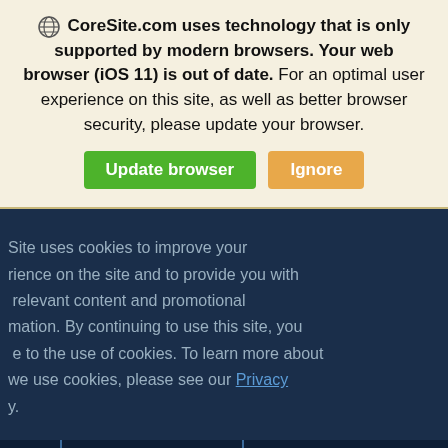CoreSite.com uses technology that is only supported by modern browsers. Your web browser (iOS 11) is out of date. For an optimal user experience on this site, as well as better browser security, please update your browser.
[Figure (screenshot): Dark blue webpage background with overlapping cookie consent panel and CoreSite News section. Cookie panel has close X button. Cookie text reads about improving experience and provides Privacy link. CoreSite News heading and subtitle visible behind/through the panel. Update browser and Ignore buttons shown in top banner.]